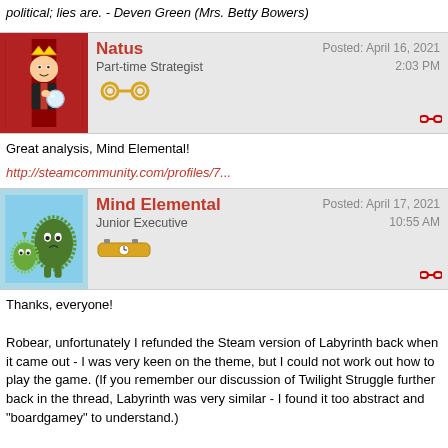The truth is a very slory and true and just, not yours and theirs. Facts are not political; lies are. - Deven Green (Mrs. Betty Bowers)
Natus
Part-time Strategist
Posted: April 16, 2021
2:03 PM
Great analysis, Mind Elemental!
http://steamcommunity.com/profiles/7...
Mind Elemental
Junior Executive
Posted: April 17, 2021
10:55 AM
Thanks, everyone!

Robear, unfortunately I refunded the Steam version of Labyrinth back when it came out - I was very keen on the theme, but I could not work out how to play the game. (If you remember our discussion of Twilight Struggle further back in the thread, Labyrinth was very similar - I found it too abstract and "boardgamey" to understand.)

PWAlessi, yep, I own / have played CMANO! From a mechanical perspective,